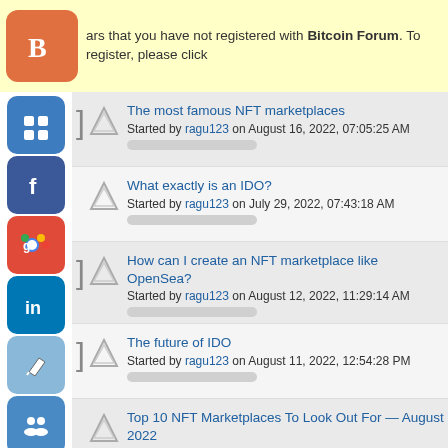ars that you have not registered with Bitcoin Forum. To register, please click
The most famous NFT marketplaces — Started by ragu123 on August 16, 2022, 07:05:25 AM
What exactly is an IDO? — Started by ragu123 on July 29, 2022, 07:43:18 AM
How can I create an NFT marketplace like OpenSea? — Started by ragu123 on August 12, 2022, 11:29:14 AM
The future of IDO — Started by ragu123 on August 11, 2022, 12:54:28 PM
Top 10 NFT Marketplaces To Look Out For — August 2022 — Started by ragu123 on August 10, 2022, 06:37:05 AM
What precisely is an IDO? — Started by ragu123 on August 09, 2022, 06:32:43 AM
Why You Invest in ViralCoin — Started by viraicoin on August 08, 2022, 12:27:47 PM